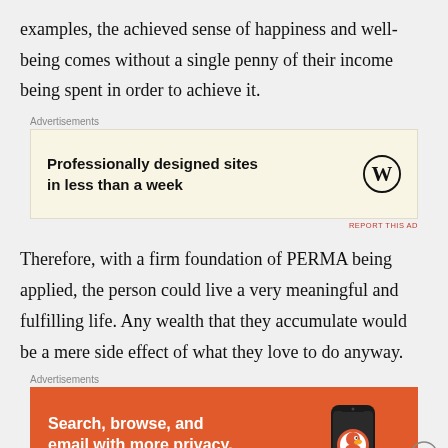examples, the achieved sense of happiness and well-being comes without a single penny of their income being spent in order to achieve it.
[Figure (other): WordPress advertisement banner with text 'Professionally designed sites in less than a week' and WordPress logo on cream background]
Therefore, with a firm foundation of PERMA being applied, the person could live a very meaningful and fulfilling life. Any wealth that they accumulate would be a mere side effect of what they love to do anyway.
[Figure (other): DuckDuckGo advertisement banner with orange background. Text: 'Search, browse, and email with more privacy. All in One Free App' with DuckDuckGo logo and phone graphic.]